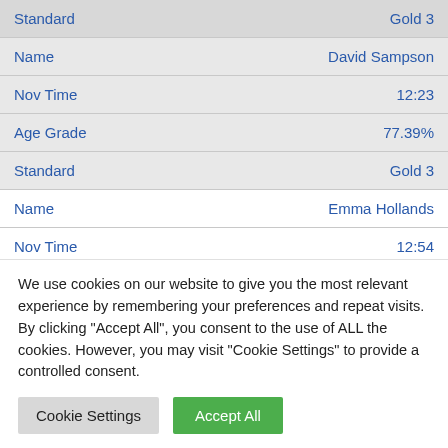| Field | Value |
| --- | --- |
| Standard | Gold 3 |
| Name | David Sampson |
| Nov Time | 12:23 |
| Age Grade | 77.39% |
| Standard | Gold 3 |
| Name | Emma Hollands |
| Nov Time | 12:54 |
| Age Grade | 76.10% |
We use cookies on our website to give you the most relevant experience by remembering your preferences and repeat visits. By clicking "Accept All", you consent to the use of ALL the cookies. However, you may visit "Cookie Settings" to provide a controlled consent.